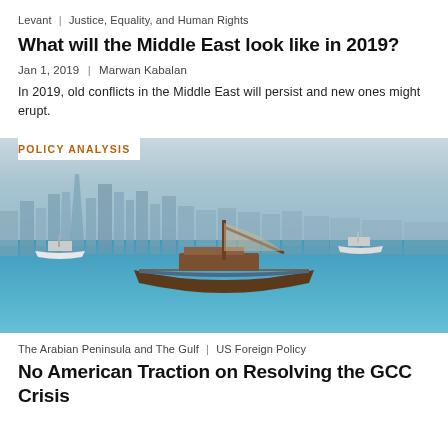Levant | Justice, Equality, and Human Rights
What will the Middle East look like in 2019?
Jan 1, 2019 | Marwan Kabalan
In 2019, old conflicts in the Middle East will persist and new ones might erupt.
[Figure (photo): Traditional wooden dhow boat on turquoise water with Doha city skyline of modern skyscrapers in the background, hazy blue sky. Label 'POLICY ANALYSIS' in orange text overlaid top-left.]
The Arabian Peninsula and The Gulf | US Foreign Policy
No American Traction on Resolving the GCC Crisis